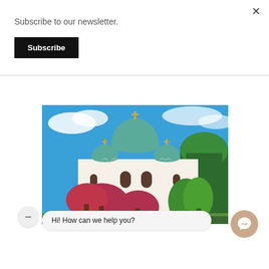Subscribe to our newsletter.
Subscribe
[Figure (photo): Photograph of a large Orthodox church with green domes and white facade, surrounded by red and green trees against a blue sky with clouds — likely the Temple of Saint Sava in Belgrade, Serbia.]
Hi! How can we help you?